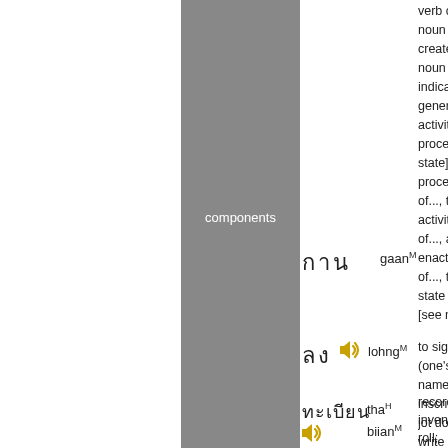components
กาน gaan
verb or noun to create a noun which indicates general activity, process, state] the process of..., the activity of..., and enactment of..., the state of... [see no
ลง lohng
to sign (one's name); inscribe; jot down; write
ทะเบียน tha biian
record; inventory; roll; license; registra